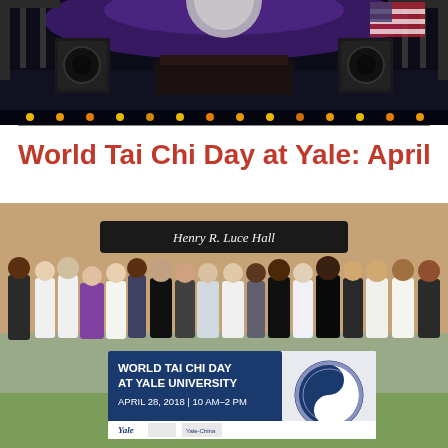[Figure (photo): Stage performance scene with purple lighting, speakers on stage, dark background with lights along the bottom edge]
World Tai Chi Day at Yale: April
[Figure (photo): Group of people standing in front of Henry R. Luce Hall holding a banner reading 'World Tai Chi Day at Yale University, April 28, 2018 | 10 AM - 2 PM' with Yale and Yale-China logos at the bottom]